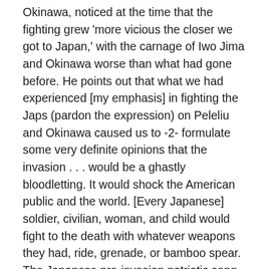Okinawa, noticed at the time that the fighting grew 'more vicious the closer we got to Japan,' with the carnage of Iwo Jima and Okinawa worse than what had gone before. He points out that what we had experienced [my emphasis] in fighting the Japs (pardon the expression) on Peleliu and Okinawa caused us to -2- formulate some very definite opinions that the invasion . . . would be a ghastly bloodletting. It would shock the American public and the world. [Every Japanese] soldier, civilian, woman, and child would fight to the death with whatever weapons they had, ride, grenade, or bamboo spear. The Japanese pre-invasion patriotic song, “One Hundred Million Souls for the Emperor,” says Sledge, “meant just that.” Universal national kamikaze was the point. One kamikaze pilot, discouraged by his unit's failure to impede the Americans very much despite the bizarre casualties it caused, wrote before diving his plane onto an American ship, "I see the